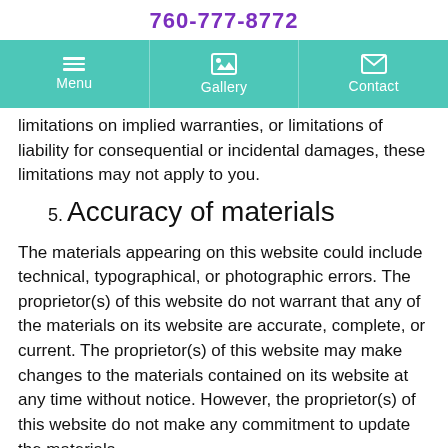760-777-8772
[Figure (screenshot): Navigation bar with teal background showing Menu, Gallery, and Contact items with icons]
limitations on implied warranties, or limitations of liability for consequential or incidental damages, these limitations may not apply to you.
5. Accuracy of materials
The materials appearing on this website could include technical, typographical, or photographic errors. The proprietor(s) of this website do not warrant that any of the materials on its website are accurate, complete, or current. The proprietor(s) of this website may make changes to the materials contained on its website at any time without notice. However, the proprietor(s) of this website do not make any commitment to update the materials.
6. Links
The proprietor(s) of this website have not reviewed all of the sites linked to its website and are not responsible for